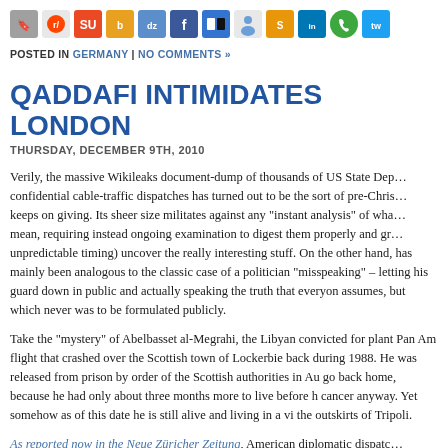[Figure (other): Row of social media sharing icons including bookmark, Reddit, StumbleUpon, Bebo, Digg, Facebook, Delicious, MySpace, Squidoo, LinkedIn, and Twitter]
POSTED IN GERMANY | NO COMMENTS »
QADDAFI INTIMIDATES LONDON
THURSDAY, DECEMBER 9TH, 2010
Verily, the massive Wikileaks document-dump of thousands of US State Department confidential cable-traffic dispatches has turned out to be the sort of pre-Christmas gift that keeps on giving. Its sheer size militates against any "instant analysis" of what they all mean, requiring instead ongoing examination to digest them properly and gradually (and with unpredictable timing) uncover the really interesting stuff. On the other hand, most of what has mainly been analogous to the classic case of a politician "misspeaking" – i.e. someone letting his guard down in public and actually speaking the truth that everyone privately assumes, but which never was to be formulated publicly.
Take the "mystery" of Abelbasset al-Megrahi, the Libyan convicted for planting a bomb on a Pan Am flight that crashed over the Scottish town of Lockerbie back during Christmas of 1988. He was released from prison by order of the Scottish authorities in August 2009 to go back home, because he had only about three months more to live before he would die of cancer anyway. Yet somehow as of this date he is still alive and living in a villa somewhere on the outskirts of Tripoli.
As reported now in the Neue Züricher Zeitung, American diplomatic dispatches...